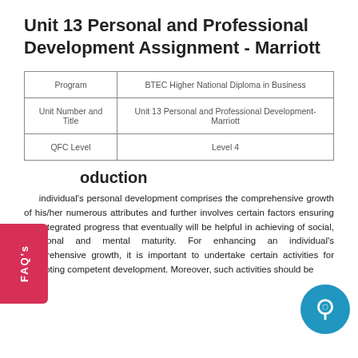Unit 13 Personal and Professional Development Assignment - Marriott
| Program | BTEC Higher National Diploma in Business |
| --- | --- |
| Unit Number and Title | Unit 13 Personal and Professional Development- Marriott |
| QFC Level | Level 4 |
Introduction
individual's personal development comprises the comprehensive growth of his/her numerous attributes and further involves certain factors ensuring the integrated progress that eventually will be helpful in achieving of social, emotional and mental maturity. For enhancing an individual's comprehensive growth, it is important to undertake certain activities for promoting competent development. Moreover, such activities should be